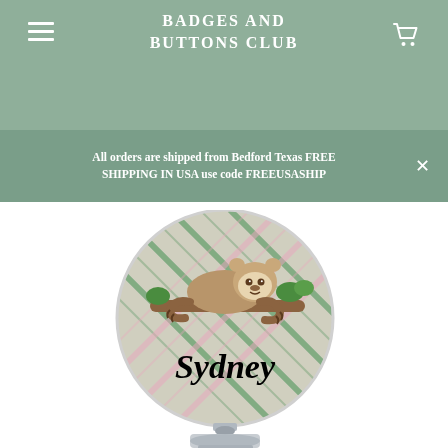BADGES AND BUTTONS CLUB
All orders are shipped from Bedford Texas FREE SHIPPING IN USA use code FREEUSASHIP
[Figure (photo): A personalized badge reel featuring a sloth on a plaid green and pink background with the name Sydney written in cursive script. The badge reel has a silver retractable clip mechanism at the bottom.]